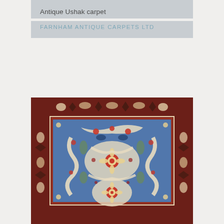Antique Ushak carpet
FARNHAM ANTIQUE CARPETS LTD
[Figure (photo): Photograph of an antique Ushak carpet with intricate floral and arabesque patterns. The carpet has a blue central field with cream, red, and green motifs arranged in a medallion-style layout. The border is deep red with geometric and floral ornaments.]